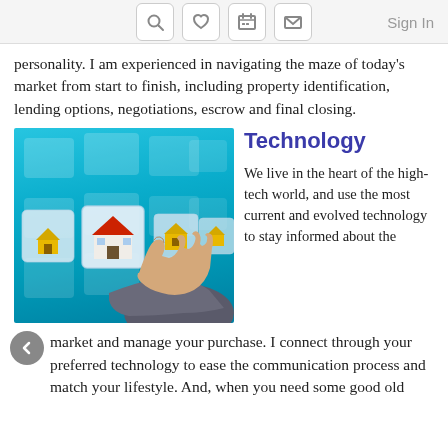Sign In
personality. I am experienced in navigating the maze of today's market from start to finish, including property identification, lending options, negotiations, escrow and final closing.
[Figure (photo): A hand in a business suit pointing at a touchscreen interface showing a row of house icons on a blue background]
Technology
We live in the heart of the high-tech world, and use the most current and evolved technology to stay informed about the market and manage your purchase. I connect through your preferred technology to ease the communication process and match your lifestyle. And, when you need some good old